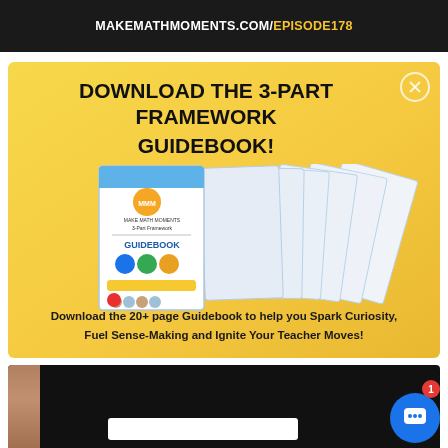MAKEMATHMOMENTS.COM/EPISODE178
DOWNLOAD THE 3-PART FRAMEWORK GUIDEBOOK!
[Figure (illustration): Stacked pages of the Make Math Moments 3-Part Framework Guidebook, showing multiple pages fanned out, with the cover visible on the left featuring the guidebook title and colorful icons.]
Download the 20+ page Guidebook to help you Spark Curiosity, Fuel Sense-Making and Ignite Your Teacher Moves!
[Figure (screenshot): Bottom portion of a dark/black video player thumbnail with a person visible on the left side and a white input box at the bottom.]